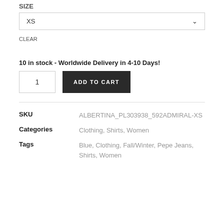XS
CLEAR
10 in stock - Worldwide Delivery in 4-10 Days!
1
ADD TO CART
| Field | Value |
| --- | --- |
| SKU | ALBERTINA_PL303938_592ADMIRAL-XS |
| Categories | Clothing, Shirts, Women |
| Tags | Blue, Clothing, Fall/Winter, Pepe Jeans, Shirts, Women |